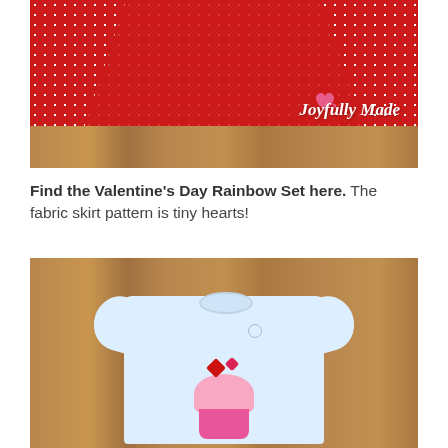[Figure (photo): Red polka-dot fabric skirt laid on a wood floor surface, with a 'Joyfully Made' script logo and pink heart with arrow watermark in the bottom right corner.]
Find the Valentine's Day Rainbow Set here. The fabric skirt pattern is tiny hearts!
[Figure (photo): A white children's t-shirt laid on a wood floor, featuring a cupcake applique decorated with red and pink hearts.]